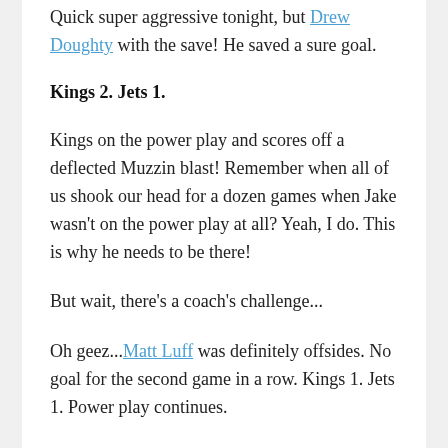Quick super aggressive tonight, but Drew Doughty with the save! He saved a sure goal.
Kings 2. Jets 1.
Kings on the power play and scores off a deflected Muzzin blast! Remember when all of us shook our head for a dozen games when Jake wasn't on the power play at all? Yeah, I do. This is why he needs to be there!
But wait, there's a coach's challenge...
Oh geez...Matt Luff was definitely offsides. No goal for the second game in a row. Kings 1. Jets 1. Power play continues.